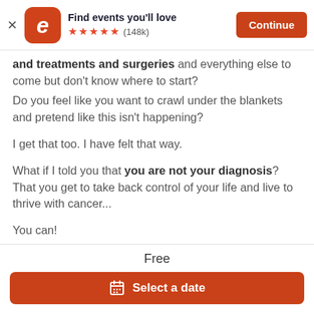[Figure (screenshot): Eventbrite app banner with logo, 'Find events you'll love', 5 stars, (148k) rating, and a Continue button]
and treatments and surgeries and everything else to come but don't know where to start?
Do you feel like you want to crawl under the blankets and pretend like this isn't happening?
I get that too. I have felt that way.
What if I told you that you are not your diagnosis? That you get to take back control of your life and live to thrive with cancer...
You can!
Free
Select a date